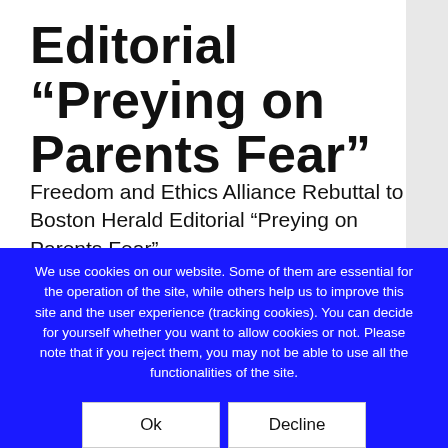Editorial “Preying on Parents Fear”
Freedom and Ethics Alliance Rebuttal to Boston Herald Editorial “Preying on Parents Fear”
In reviewing the editorial staff on May 8, 2017, it is
We use cookies on our website. Some of them are essential for the operation of the site, while others help us to improve this site and the user experience (tracking cookies). You can decide for yourself whether you want to allow cookies or not. Please note that if you reject them, you may not be able to use all the functionalities of the site.
Ok
Decline